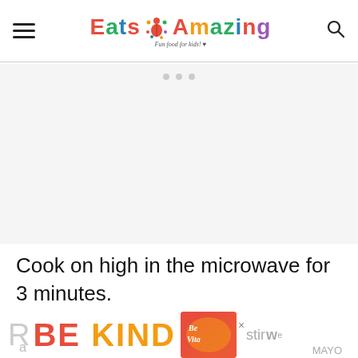Eats Amazing - Fun food for kids!
[Figure (other): Advertisement placeholder block with three dots at top, light gray background]
Cook on high in the microwave for 3 minutes.
[Figure (other): Advertisement banner showing 'BE KIND' text in red and yellow with decorative swirl graphic and partial text]